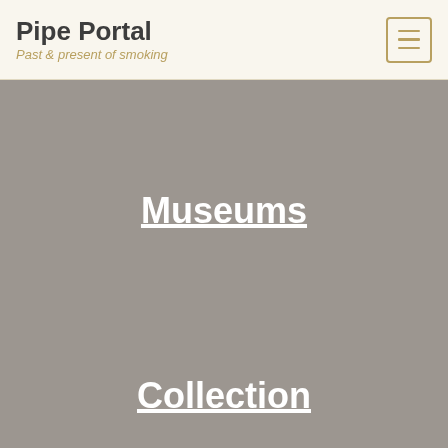Pipe Portal — Past & present of smoking
Museums
Collection